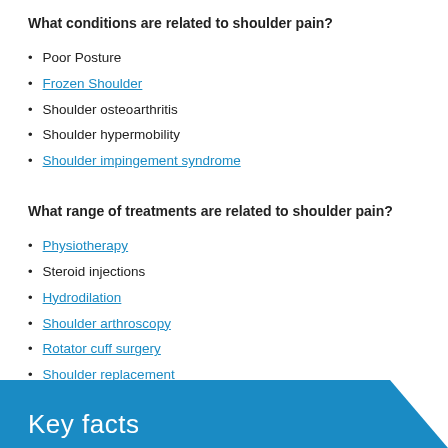What conditions are related to shoulder pain?
Poor Posture
Frozen Shoulder
Shoulder osteoarthritis
Shoulder hypermobility
Shoulder impingement syndrome
What range of treatments are related to shoulder pain?
Physiotherapy
Steroid injections
Hydrodilation
Shoulder arthroscopy
Rotator cuff surgery
Shoulder replacement
Key facts